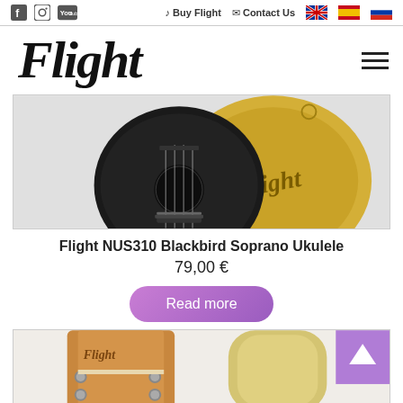Flight — Buy Flight | Contact Us | [EN] [ES] [RU]
[Figure (logo): Flight brand logo in italic script font]
[Figure (photo): Black Flight NUS310 Blackbird Soprano Ukulele with gold Flight branded gig bag]
Flight NUS310 Blackbird Soprano Ukulele
79,00 €
Read more
[Figure (photo): Flight ukulele headstock (natural wood) alongside gold/cream colored ukulele gig bag, with purple scroll-to-top button]